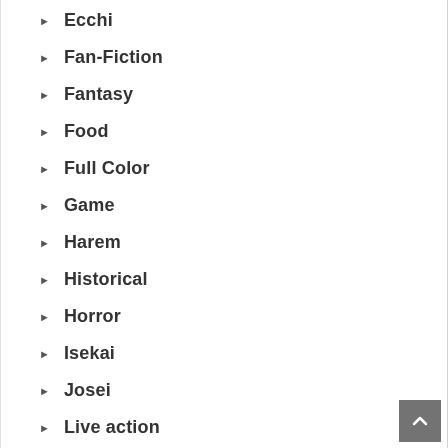Ecchi
Fan-Fiction
Fantasy
Food
Full Color
Game
Harem
Historical
Horror
Isekai
Josei
Live action
Magic